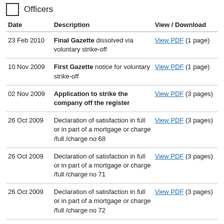Officers
| Date | Description | View / Download |
| --- | --- | --- |
| 23 Feb 2010 | Final Gazette dissolved via voluntary strike-off | View PDF (1 page) |
| 10 Nov 2009 | First Gazette notice for voluntary strike-off | View PDF (1 page) |
| 02 Nov 2009 | Application to strike the company off the register | View PDF (3 pages) |
| 26 Oct 2009 | Declaration of satisfaction in full or in part of a mortgage or charge /full /charge no 68 | View PDF (3 pages) |
| 26 Oct 2009 | Declaration of satisfaction in full or in part of a mortgage or charge /full /charge no 71 | View PDF (3 pages) |
| 26 Oct 2009 | Declaration of satisfaction in full or in part of a mortgage or charge /full /charge no 72 | View PDF (3 pages) |